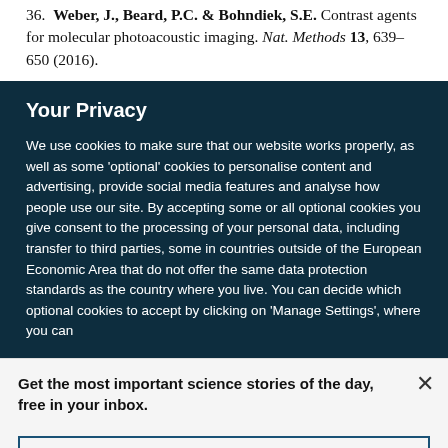36. Weber, J., Beard, P.C. & Bohndiek, S.E. Contrast agents for molecular photoacoustic imaging. Nat. Methods 13, 639–650 (2016).
Your Privacy
We use cookies to make sure that our website works properly, as well as some 'optional' cookies to personalise content and advertising, provide social media features and analyse how people use our site. By accepting some or all optional cookies you give consent to the processing of your personal data, including transfer to third parties, some in countries outside of the European Economic Area that do not offer the same data protection standards as the country where you live. You can decide which optional cookies to accept by clicking on 'Manage Settings', where you can
Get the most important science stories of the day, free in your inbox.
Sign up for Nature Briefing